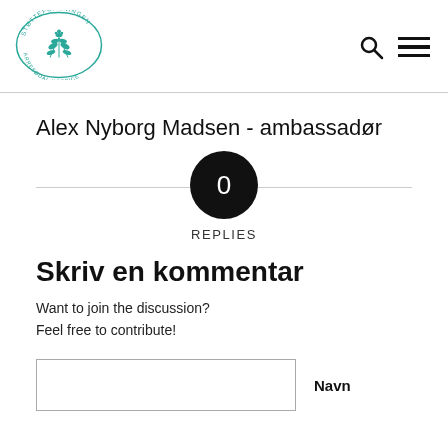[Figure (logo): Oval logo with teal floral illustration and text 'STØTTEFORENINGEN ARRESØDAL HOSPICE']
Alex Nyborg Madsen - ambassadør
[Figure (infographic): Black circle with white '0' and label 'REPLIES' below, on a horizontal divider line]
Skriv en kommentar
Want to join the discussion?
Feel free to contribute!
Navn